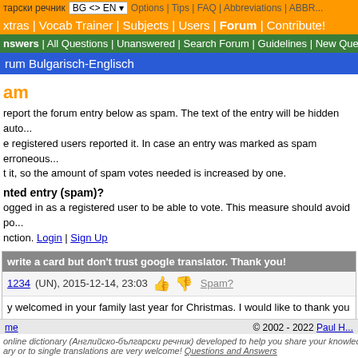тарски речник | BG <> EN | Options | Tips | FAQ | Abbreviations | ABBR...
xtras | Vocab Trainer | Subjects | Users | Forum | Contribute!
nswers | All Questions | Unanswered | Search Forum | Guidelines | New Que...
rum Bulgarisch-Englisch
am
report the forum entry below as spam. The text of the entry will be hidden auto... e registered users reported it. In case an entry was marked as spam erroneous... t it, so the amount of spam votes needed is increased by one.
nted entry (spam)?
ogged in as a registered user to be able to vote. This measure should avoid po... nction. Login | Sign Up
write a card but don't trust google translator. Thank you!
1234 (UN), 2015-12-14, 23:03   Spam?
y welcomed in your family last year for Christmas. I would like to thank you ver... s, I will cherish them forever. Even though I have not spent much time with you... couldn't have had a better mom.
like to wish you a Merry Christmas, full of joy, peace and love and a Happy Ne...
me                                    © 2002 - 2022 Paul H...
online dictionary (Английско-български речник) developed to help you share your knowledge... ary or to single translations are very welcome! Questions and Answers